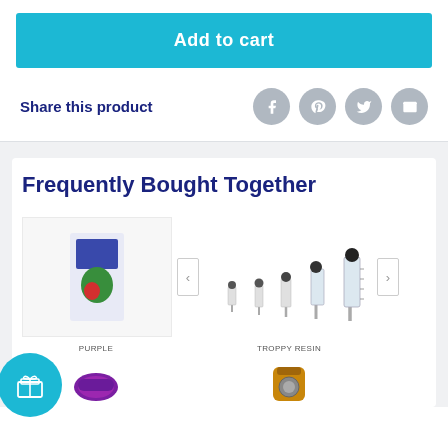Add to cart
Share this product
Frequently Bought Together
[Figure (photo): Product image on left: a small package with colorful/illustrative label. Center: row of syringes of increasing size. Below left: 'PURPLE' label with a product item. Below right: 'TROPPY RESIN' label with a product item.]
[Figure (illustration): Gift box icon in cyan circle, bottom left corner]